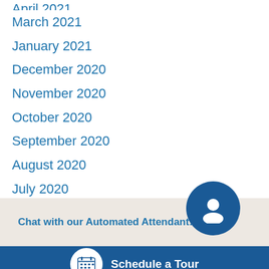April 2021
March 2021
January 2021
December 2020
November 2020
October 2020
September 2020
August 2020
July 2020
June 2020
May 2020
April 2020
Chat with our Automated Attendant!
Schedule a Tour